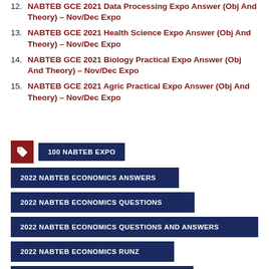12. NABTEB GCE 2021 Data Processing Expo Answer (Obj And Theory) – Nov/Dec Expo
13. NABTEB GCE 2021 Health Science Expo Answer (Obj And Theory) – Nov/Dec Expo
14. NABTEB GCE 2021 Biology Practical Expo Answer (Obj And Theory) – Nov/Dec Expo
15. NABTEB GCE 2021 Agric Practical Expo Answer (Obj And Theory) – Nov/Dec Expo
100 NABTEB EXPO
2022 NABTEB ECONOMICS ANSWERS
2022 NABTEB ECONOMICS QUESTIONS
2022 NABTEB ECONOMICS QUESTIONS AND ANSWERS
2022 NABTEB ECONOMICS RUNZ
2022 NABTEB THE ECONOMICS RUNS
2022/2023 NABTEB QUESTIONS AND ANSWERS ON